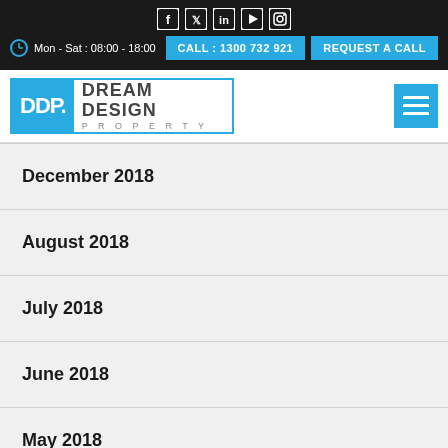[Figure (screenshot): Social media icons row (Facebook, Twitter, LinkedIn, YouTube, Instagram) in white on dark background]
Mon - Sat : 08:00 - 18:00
CALL : 1300 732 921
REQUEST A CALL
[Figure (logo): DDP. Dream Design Property logo with cyan/blue branding]
December 2018
August 2018
July 2018
June 2018
May 2018